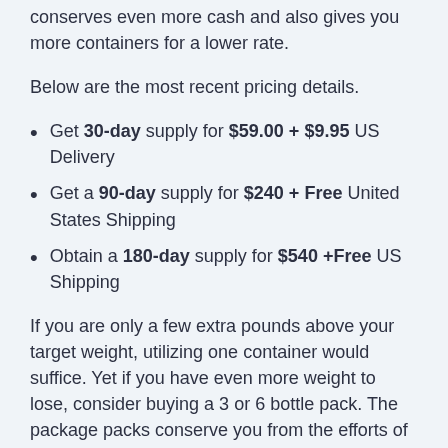conserves even more cash and also gives you more containers for a lower rate.
Below are the most recent pricing details.
Get 30-day supply for $59.00 + $9.95 US Delivery
Get a 90-day supply for $240 + Free United States Shipping
Obtain a 180-day supply for $540 +Free US Shipping
If you are only a few extra pounds above your target weight, utilizing one container would suffice. Yet if you have even more weight to lose, consider buying a 3 or 6 bottle pack. The package packs conserve you from the efforts of purchasing one